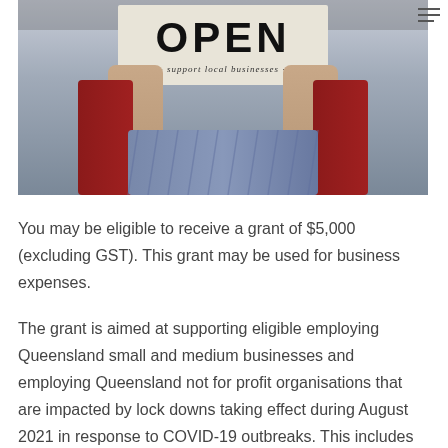[Figure (photo): Person holding an OPEN sign with text 'support local businesses' in a shop window]
You may be eligible to receive a grant of $5,000 (excluding GST). This grant may be used for business expenses.
The grant is aimed at supporting eligible employing Queensland small and medium businesses and employing Queensland not for profit organisations that are impacted by lock downs taking effect during August 2021 in response to COVID-19 outbreaks. This includes the South-East Queensland lock down that commenced on 31 July 2021 and the Cairns and Yarrabah lock down that